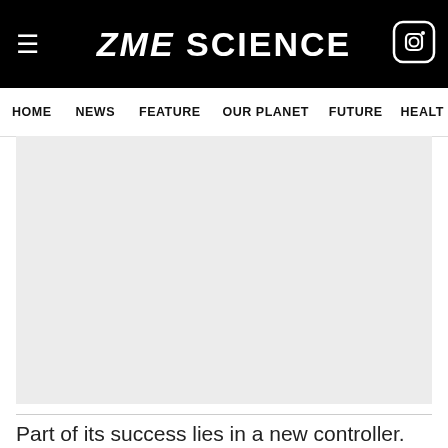ZME SCIENCE
HOME  NEWS  FEATURE  OUR PLANET  FUTURE  HEALT
[Figure (photo): A large light gray placeholder image area for a wind turbine or related science article photo.]
Part of its success lies in a new controller. Wind turbines have a hard time dealing with